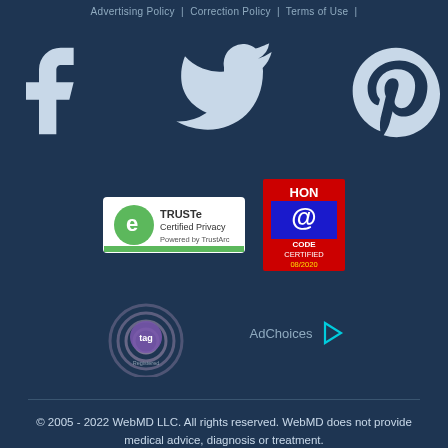Advertising Policy | Correction Policy | Terms of Use |
[Figure (logo): Social media icons: Facebook, Twitter, Pinterest]
[Figure (logo): TRUSTe Certified Privacy Powered by TrustArc badge]
[Figure (logo): HON CODE CERTIFIED 08/2020 badge]
[Figure (logo): TAG (Trustworthy Accountability Group) logo]
[Figure (logo): AdChoices logo with triangle icon]
© 2005 - 2022 WebMD LLC. All rights reserved. WebMD does not provide medical advice, diagnosis or treatment.